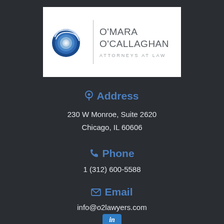[Figure (logo): O'Mara O'Callaghan Attorneys at Law logo with blue concentric circle icon, vertical divider, and firm name text]
Address
230 W Monroe, Suite 2620
Chicago, IL 60606
Phone
1 (312) 600-5588
Email
info@o2lawyers.com
[Figure (logo): LinkedIn icon button (blue rounded square with white 'in')]